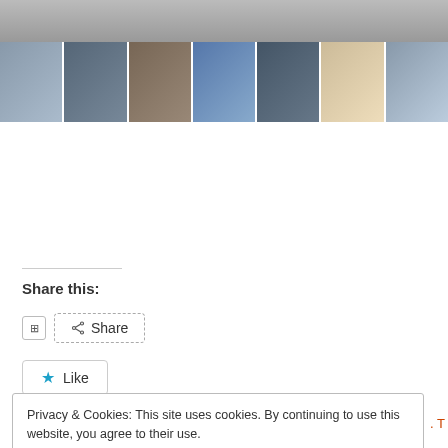[Figure (photo): Screenshot of a webpage showing a video thumbnail strip with multiple participant photos/thumbnails at the top]
Share this:
[Figure (screenshot): Share button with share icon]
[Figure (screenshot): Like button with blue star icon]
Privacy & Cookies: This site uses cookies. By continuing to use this website, you agree to their use.
To find out more, including how to control cookies, see here: Cookie Policy
Close and accept